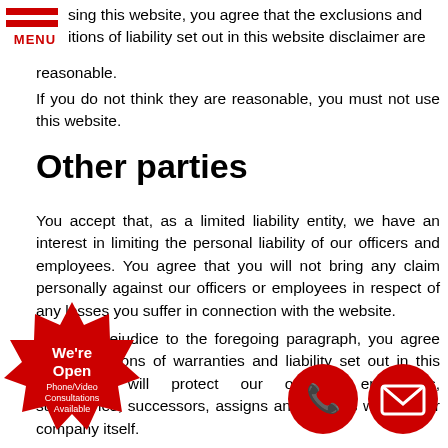MENU
sing this website, you agree that the exclusions and itions of liability set out in this website disclaimer are reasonable.
If you do not think they are reasonable, you must not use this website.
Other parties
You accept that, as a limited liability entity, we have an interest in limiting the personal liability of our officers and employees. You agree that you will not bring any claim personally against our officers or employees in respect of any losses you suffer in connection with the website.
Without prejudice to the foregoing paragraph, you agree that limitations of warranties and liability set out in this disclaimer will protect our officers, employees, subsidiaries, successors, assigns and sub- as well as our company itself.
[Figure (infographic): Red starburst badge with 'We're Open Phone/Video Consultations Available' text]
[Figure (infographic): Red circular phone button icon]
[Figure (infographic): Red circular email/envelope button icon]